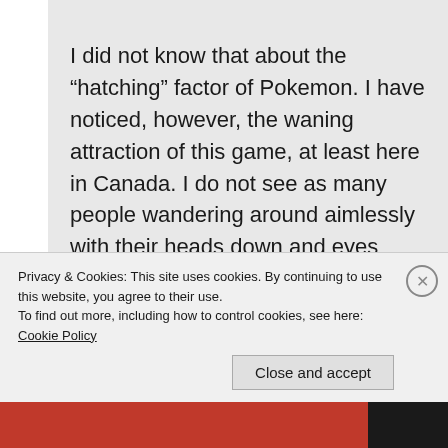I did not know that about the “hatching” factor of Pokemon. I have noticed, however, the waning attraction of this game, at least here in Canada. I do not see as many people wandering around aimlessly with their heads down and eyes glued to their mobile device. Thanks so much for reading and keep running those 10km’s!!!
Privacy & Cookies: This site uses cookies. By continuing to use this website, you agree to their use.
To find out more, including how to control cookies, see here: Cookie Policy
Close and accept